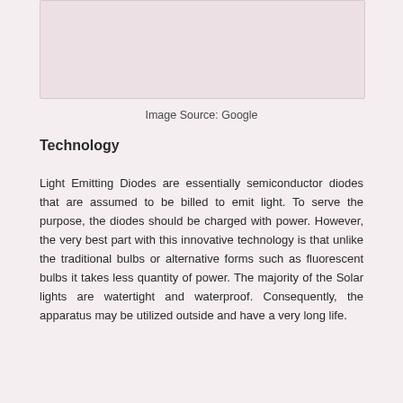[Figure (photo): A rectangular image placeholder with a light pink/mauve background color, representing a photo of solar lights or LEDs.]
Image Source: Google
Technology
Light Emitting Diodes are essentially semiconductor diodes that are assumed to be billed to emit light. To serve the purpose, the diodes should be charged with power. However, the very best part with this innovative technology is that unlike the traditional bulbs or alternative forms such as fluorescent bulbs it takes less quantity of power. The majority of the Solar lights are watertight and waterproof. Consequently, the apparatus may be utilized outside and have a very long life.